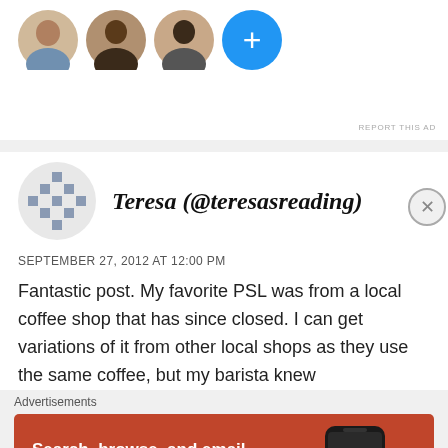[Figure (screenshot): Top section showing avatar thumbnails of people and a blue plus button]
REPORT THIS AD
[Figure (illustration): Commenter avatar — snowflake/quilt pattern icon for Teresa (@teresasreading)]
Teresa (@teresasreading)
SEPTEMBER 27, 2012 AT 12:00 PM
Fantastic post. My favorite PSL was from a local coffee shop that has since closed. I can get variations of it from other local shops as they use the same coffee, but my barista knew
Advertisements
[Figure (infographic): DuckDuckGo advertisement banner on orange-red background. Text: Search, browse, and email with more privacy. All in One Free App. Shows phone with DuckDuckGo logo and brand name.]